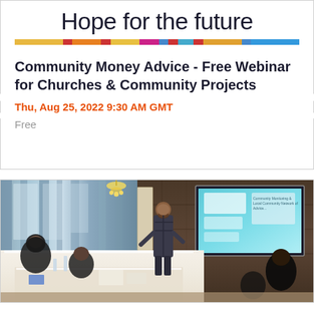Hope for the future
Community Money Advice - Free Webinar for Churches & Community Projects
Thu, Aug 25, 2022 9:30 AM GMT
Free
[Figure (photo): Photo of a seminar or training session showing attendees seated at white-cloth covered tables facing a presenter who stands near a flip chart and projector screen displaying content. The room has curtained windows on the left and wood-paneled walls on the right.]